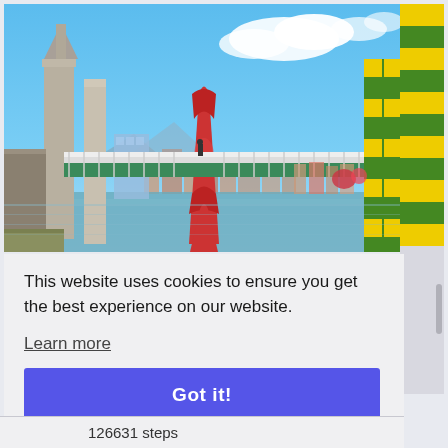[Figure (photo): Photograph of a modern bridge with a bold red arch/pylon over a river in a city (likely Bilbao, Spain). The bridge has a green underside and white railing structure. On the left are large concrete architectural structures. On the right is a colorful yellow and green grid structure. Blue sky with white clouds in the background, city buildings visible in the distance.]
This website uses cookies to ensure you get the best experience on our website.
Learn more
Got it!
126631 steps